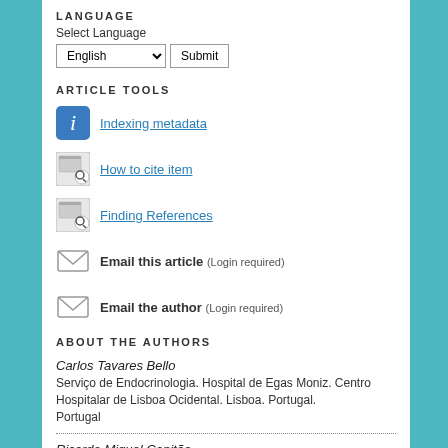LANGUAGE
Select Language
ARTICLE TOOLS
Indexing metadata
How to cite item
Finding References
Email this article (Login required)
Email the author (Login required)
ABOUT THE AUTHORS
Carlos Tavares Bello
Serviço de Endocrinologia. Hospital de Egas Moniz. Centro Hospitalar de Lisboa Ocidental. Lisboa. Portugal.
Portugal
Ricardo Miguel Capitão
Serviço de Endocrinologia. Hospital de Egas Moniz. Centro Hospitalar de Lisboa Ocidental. Lisboa. Portugal.
Portugal
João Sequeira Duarte
Serviço de Endocrinologia. Hospital de Egas Moniz. Centro Hospitalar de Lisboa Ocidental. Lisboa. Portugal.